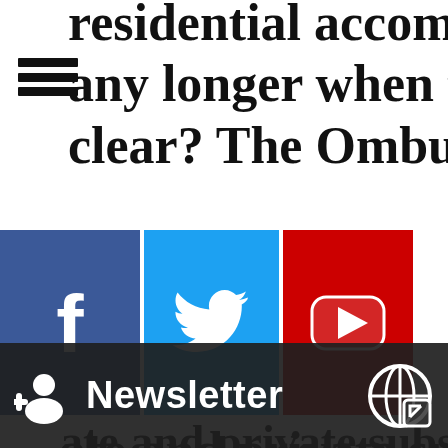residential accommodat…
any longer when the co…
clear? The Ombudsman…
unions
ate and private subsi…
utions are demandi…
actions to ensure the qu…
the elderly. The age…
population calls fo… addi…
[Figure (infographic): Social media icon bar with Facebook (blue), Twitter (cyan), YouTube (red) icons, plus Flickr dots and Newsletter bar with add-person, newsletter text, and globe/link icon]
Newsletter